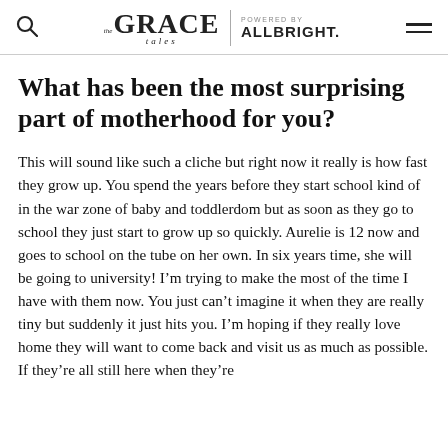The Grace Tales | POWERED BY ALLBRIGHT.
What has been the most surprising part of motherhood for you?
This will sound like such a cliche but right now it really is how fast they grow up. You spend the years before they start school kind of in the war zone of baby and toddlerdom but as soon as they go to school they just start to grow up so quickly. Aurelie is 12 now and goes to school on the tube on her own. In six years time, she will be going to university! I'm trying to make the most of the time I have with them now. You just can't imagine it when they are really tiny but suddenly it just hits you. I'm hoping if they really love home they will want to come back and visit us as much as possible. If they're all still here when they're